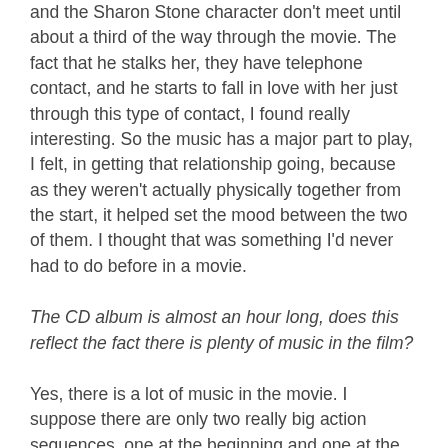and the Sharon Stone character don't meet until about a third of the way through the movie. The fact that he stalks her, they have telephone contact, and he starts to fall in love with her just through this type of contact, I found really interesting. So the music has a major part to play, I felt, in getting that relationship going, because as they weren't actually physically together from the start, it helped set the mood between the two of them. I thought that was something I'd never had to do before in a movie.
The CD album is almost an hour long, does this reflect the fact there is plenty of music in the film?
Yes, there is a lot of music in the movie. I suppose there are only two really big action sequences, one at the beginning and one at the end, but what also interested me was that there wasn't the usual kind of car chase thing with lots of noise. The excitement in the movie was the build-up to the explosion each time. So although the audience know what's going to happen, I use a lot of red-herring cues, you build each time and then as the explosion happens the noise